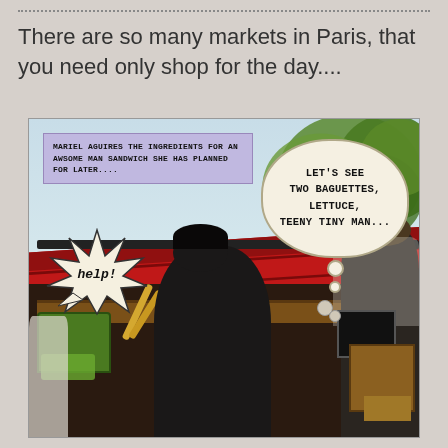There are so many markets in Paris, that you need only shop for the day....
[Figure (illustration): Comic-style photo illustration of a Paris outdoor market. A woman with dark hair (Mariel) shops at a red-awning market stall. Narrative box reads: 'MARIEL AGUIRES THE INGREDIENTS FOR AN AWSOME MAN SANDWICH SHE HAS PLANNED FOR LATER...'. Thought bubble reads: 'LET'S SEE TWO BAGUETTES, LETTUCE, TEENY TINY MAN...'. Starburst speech bubble at lower left reads: 'help!'. Trees visible in background, red awning overhead, market produce visible.]